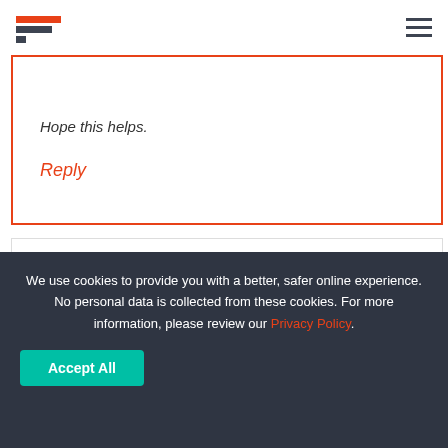[Logo mark] [Hamburger menu]
Hope this helps.
Reply
Eric Tompkins  October 18, 2021
We use cookies to provide you with a better, safer online experience. No personal data is collected from these cookies. For more information, please review our Privacy Policy.
Accept All